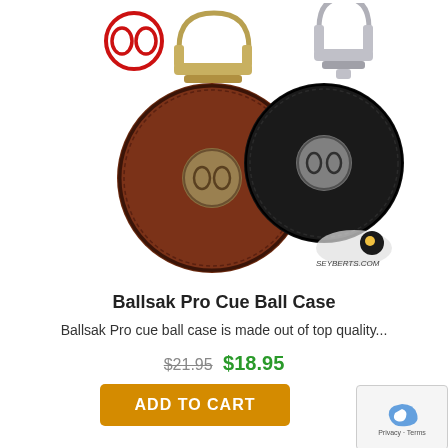[Figure (photo): Two Ballsak Pro Cue Ball Cases shown side by side — one brown leather with gold carabiner clip and bronze logo badge, one black with silver carabiner clip and silver logo badge. A Seyberts.com logo watermark is in the lower right of the image.]
Ballsak Pro Cue Ball Case
Ballsak Pro cue ball case is made out of top quality...
$21.95 $18.95
ADD TO CART